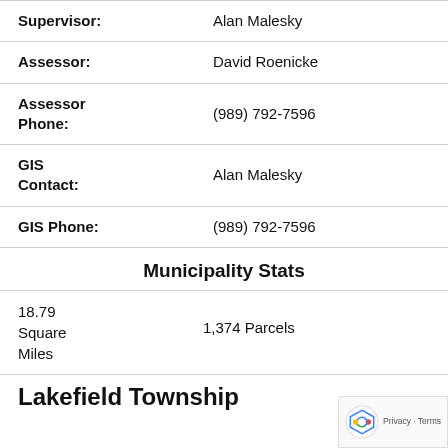| Field | Value |
| --- | --- |
| Supervisor: | Alan Malesky |
| Assessor: | David Roenicke |
| Assessor Phone: | (989) 792-7596 |
| GIS Contact: | Alan Malesky |
| GIS Phone: | (989) 792-7596 |
Municipality Stats
18.79 Square Miles    1,374 Parcels
Lakefield Township